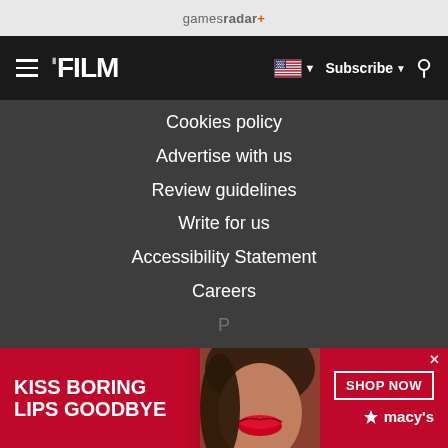gamesradar+
FILM | Subscribe | Search
Cookies policy
Advertise with us
Review guidelines
Write for us
Accessibility Statement
Careers
[Figure (infographic): Advertisement banner: red background with woman's face wearing red lipstick. Text: KISS BORING LIPS GOODBYE. SHOP NOW button. Macy's star logo.]